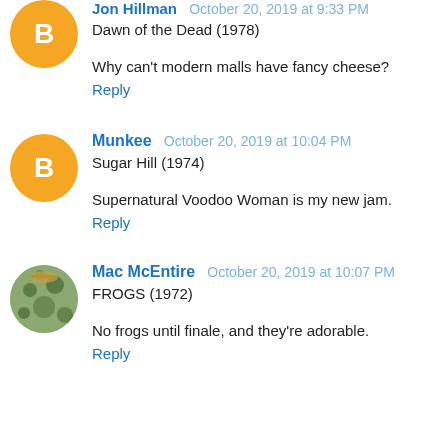Jon Hillman  October 20, 2019 at 9:33 PM
Dawn of the Dead (1978)
Why can't modern malls have fancy cheese?
Reply
Munkee  October 20, 2019 at 10:04 PM
Sugar Hill (1974)
Supernatural Voodoo Woman is my new jam.
Reply
Mac McEntire  October 20, 2019 at 10:07 PM
FROGS (1972)
No frogs until finale, and they're adorable.
Reply